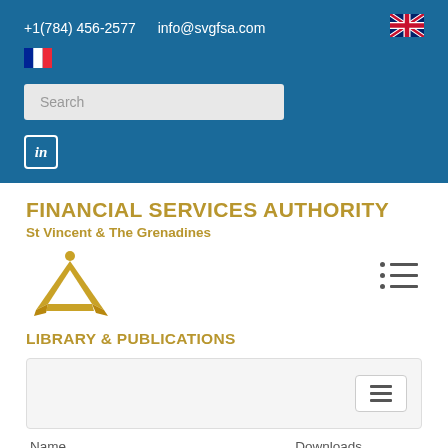+1(784) 456-2577   info@svgfsa.com
[Figure (screenshot): Website header with blue background showing contact info, search bar, LinkedIn icon, and language flags (UK and France)]
FINANCIAL SERVICES AUTHORITY
St Vincent & The Grenadines
[Figure (logo): Golden stylized figure/star logo of the Financial Services Authority SVG]
LIBRARY & PUBLICATIONS
| Name | Downloads |
| --- | --- |